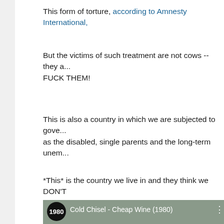This form of torture, according to Amnesty International,
But the victims of such treatment are not cows -- they a... FUCK THEM!
This is also a country in which we are subjected to gove... as the disabled, single parents and the long-term unem...
*This* is the country we live in and they think we DON'T
[Figure (screenshot): YouTube video thumbnail for Cold Chisel - Cheap Wine (1980) with a circular black badge showing '1980' and a person wearing sunglasses visible in the background]